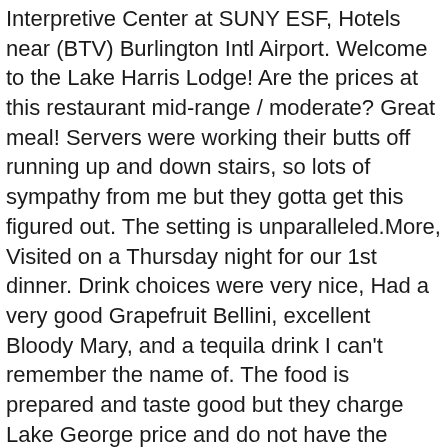Interpretive Center at SUNY ESF, Hotels near (BTV) Burlington Intl Airport. Welcome to the Lake Harris Lodge! Are the prices at this restaurant mid-range / moderate? Great meal! Servers were working their butts off running up and down stairs, so lots of sympathy from me but they gotta get this figured out. The setting is unparalleled.More, Visited on a Thursday night for our 1st dinner. Drink choices were very nice, Had a very good Grapefruit Bellini, excellent Bloody Mary, and a tequila drink I can't remember the name of. The food is prepared and taste good but they charge Lake George price and do not have the quality. - See 15 traveler reviews, candid photos, and great deals for Newcomb, NY, at Tripadvisor. The Hoot Owl Lodge provides an intimate, relaxing atmosphere from which to enjoy our local area. wait staff was great! This day reunites all of Newcomb's and Tahawus residents… past, present, their families, close and distant relatives/friends… anyone with connections to Newcomb.Its fun to catch up with everyone, whether you've recently connected or haven't seen one another for years. The Adirondack Hub is an extremely unique